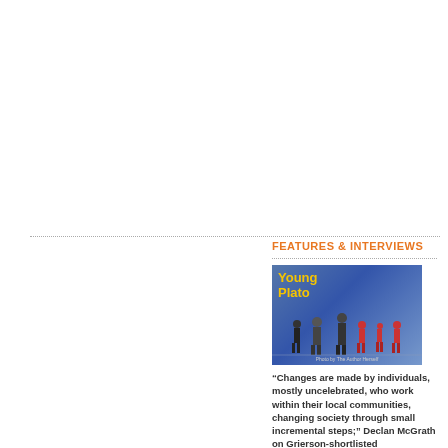FEATURES & INTERVIEWS
[Figure (photo): Young Plato documentary film poster/thumbnail showing children and an adult walking outdoors with a yellow bus in the background. Text 'Young Plato' in yellow overlaid on the image.]
“Changes are made by individuals, mostly uncelebrated, who work within their local communities, changing society through small incremental steps;” Declan McGrath on Grierson-shortlisted documentary Young Plato